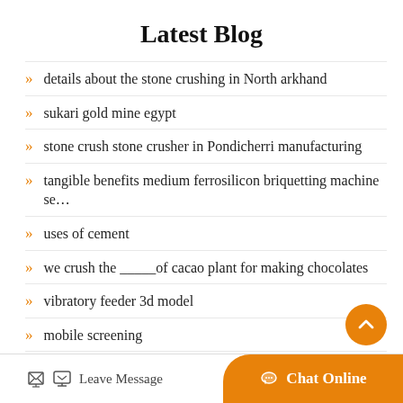Latest Blog
details about the stone crushing in North arkhand
sukari gold mine egypt
stone crush stone crusher in Pondicherri manufacturing
tangible benefits medium ferrosilicon briquetting machine se…
uses of cement
we crush the _____of cacao plant for making chocolates
vibratory feeder 3d model
mobile screening
Leave Message
Chat Online